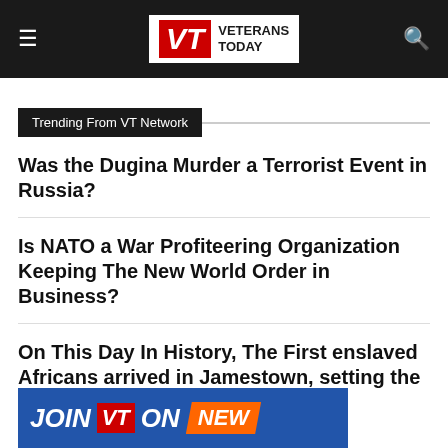Veterans Today — site header with hamburger menu, VT logo, and search icon
Trending From VT Network
Was the Dugina Murder a Terrorist Event in Russia?
Is NATO a War Profiteering Organization Keeping The New World Order in Business?
On This Day In History, The First enslaved Africans arrived in Jamestown, setting the stage for slavery in North America
[Figure (illustration): JOIN VT ON NEW banner at bottom of page — blue background with red VT logo box and orange NEW badge]